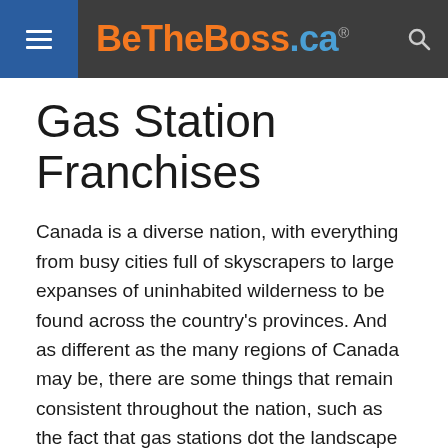BeTheBoss.ca
Gas Station Franchises
Canada is a diverse nation, with everything from busy cities full of skyscrapers to large expanses of uninhabited wilderness to be found across the country's provinces. And as different as the many regions of Canada may be, there are some things that remain consistent throughout the nation, such as the fact that gas stations dot the landscape seemingly everywhere. Whether you're driving along a relatively barren stretch of highway in the middle of nowhere or cruising through